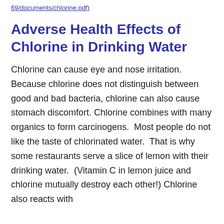69/documents/chlorine.pdf)
Adverse Health Effects of Chlorine in Drinking Water
Chlorine can cause eye and nose irritation. Because chlorine does not distinguish between good and bad bacteria, chlorine can also cause stomach discomfort. Chlorine combines with many organics to form carcinogens.  Most people do not like the taste of chlorinated water.  That is why some restaurants serve a slice of lemon with their drinking water.  (Vitamin C in lemon juice and chlorine mutually destroy each other!) Chlorine also reacts with